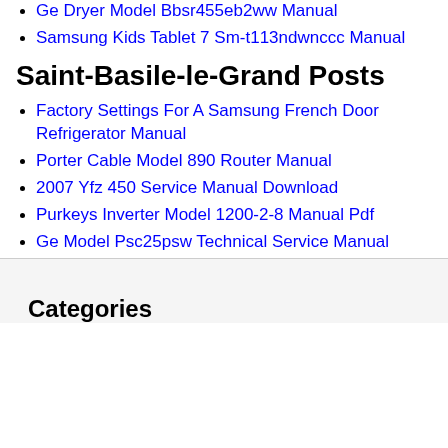Ge Dryer Model Bbsr455eb2ww Manual
Samsung Kids Tablet 7 Sm-t113ndwnccc Manual
Saint-Basile-le-Grand Posts
Factory Settings For A Samsung French Door Refrigerator Manual
Porter Cable Model 890 Router Manual
2007 Yfz 450 Service Manual Download
Purkeys Inverter Model 1200-2-8 Manual Pdf
Ge Model Psc25psw Technical Service Manual
Categories